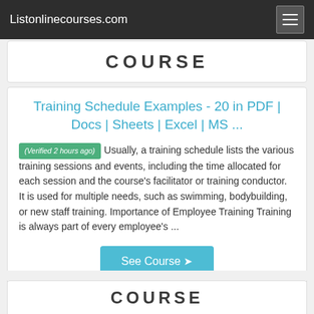Listonlinecourses.com
Training Schedule Examples - 20 in PDF | Docs | Sheets | Excel | MS ...
(Verified 2 hours ago) Usually, a training schedule lists the various training sessions and events, including the time allocated for each session and the course's facilitator or training conductor. It is used for multiple needs, such as swimming, bodybuilding, or new staff training. Importance of Employee Training Training is always part of every employee's ...
See Course